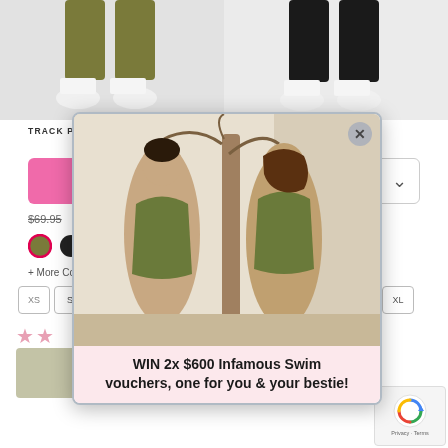[Figure (photo): Two product photos at top: left shows olive/khaki track pants with white sneakers; right shows black track pants with white sneakers]
TRACK PANT SPLICED
TRACK PANT LOGO
Filter (1)
Best selling
$69.95
$69.95
+ More Colours
+ More Colours
XS S M L XL
XS S M L XL
[Figure (photo): Popup modal showing two women in olive green swimwear standing next to a palm tree in a tropical setting, with a close (X) button in the top right corner]
WIN 2x $600 Infamous Swim vouchers, one for you & your bestie!